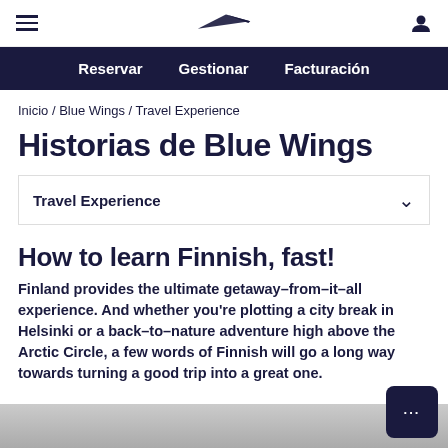≡  [Finnair logo]  [user icon]
Reservar  Gestionar  Facturación
Inicio / Blue Wings / Travel Experience
Historias de Blue Wings
Travel Experience
How to learn Finnish, fast!
Finland provides the ultimate getaway–from–it–all experience. And whether you're plotting a city break in Helsinki or a back–to–nature adventure high above the Arctic Circle, a few words of Finnish will go a long way towards turning a good trip into a great one.